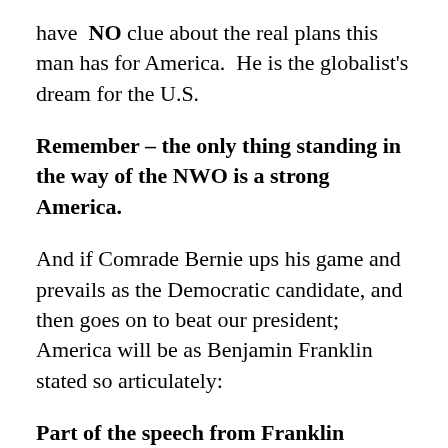have NO clue about the real plans this man has for America. He is the globalist's dream for the U.S.
Remember – the only thing standing in the way of the NWO is a strong America.
And if Comrade Bernie ups his game and prevails as the Democratic candidate, and then goes on to beat our president; America will be as Benjamin Franklin stated so articulately:
Part of the speech from Franklin during The Constitutional Convention: